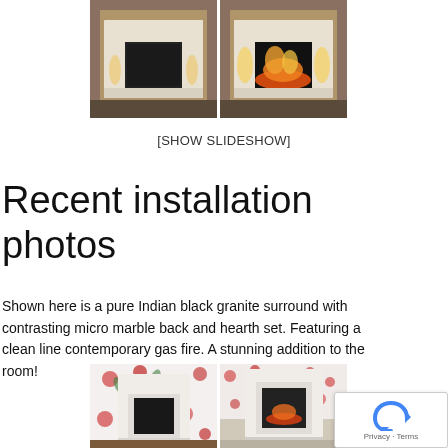[Figure (photo): Two photos of fireplaces with white/black surround, shown without and with fire lit, glowing orange flames visible in right photo]
[SHOW SLIDESHOW]
Recent installation photos
Shown here is a pure Indian black granite surround with contrasting micro marble back and hearth set. Featuring a clean line contemporary gas fire. A stunning addition to the room!
[Figure (photo): Two photos of a white marble fireplace surround against a floral wallpaper with red roses; right photo shows fireplace in a room setting]